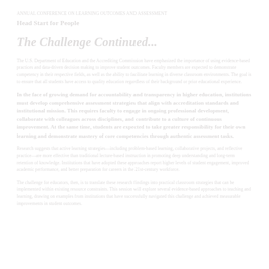ANNUAL CONFERENCE ON LEARNING OUTCOMES AND ASSESSMENT
Head Start for People
The Challenge Continued...
The U.S. Department of Education and the Accrediting Commission have emphasized the importance of using evidence-based practices and data-driven decision making to improve student outcomes. Faculty members are expected to demonstrate competency in their respective fields, as well as the ability to facilitate learning in diverse classroom environments. The goal is to ensure that all students have access to quality education regardless of their background or prior educational experience.
In the face of growing demand for accountability and transparency in higher education, institutions must develop comprehensive assessment strategies that align with accreditation standards and institutional mission. This requires faculty to engage in ongoing professional development, collaborate with colleagues across disciplines, and contribute to a culture of continuous improvement. At the same time, students are expected to take greater responsibility for their own learning and demonstrate mastery of core competencies through authentic assessment tasks.
Research suggests that active learning strategies—including problem-based learning, collaborative projects, and reflective practice—are more effective than traditional lecture-based instruction in promoting deep understanding and long-term retention of knowledge. Institutions that have adopted these approaches report higher levels of student engagement, improved academic performance, and better preparation for careers in the 21st-century workforce.
The challenge for educators, then, is to translate these research findings into practical classroom strategies that can be implemented within existing resource constraints. This session will explore several evidence-based approaches to teaching and learning, drawing on examples from institutions that have successfully navigated this challenge and achieved measurable improvements in student outcomes.